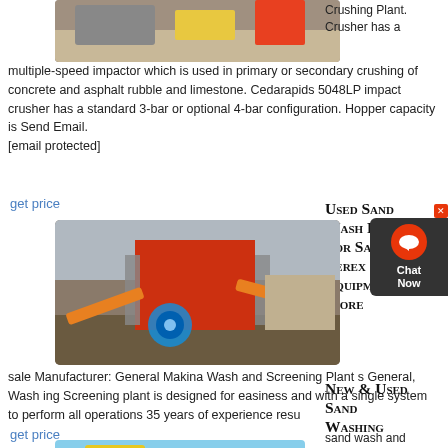[Figure (photo): Top photo of a crushing plant/machinery, partially visible at top of page]
Crushing Plant. Crusher has a multiple-speed impactor which is used in primary or secondary crushing of concrete and asphalt rubble and limestone. Cedarapids 5048LP impact crusher has a standard 3-bar or optional 4-bar configuration. Hopper capacity is Send Email. [email protected]
get price
[Figure (photo): Photo of a sand wash and screening plant with large industrial equipment, conveyor belts, and machinery on open ground]
Used Sand Wash Plant For Sale. Terex Equipment & More
sand wash and screening plant for sale Manufacturer: General Makina Wash and Screening Plant s General, Wash ing Screening plant is designed for easiness and with a single system to perform all operations 35 years of experience resu
get price
[Figure (photo): Photo of yellow industrial machinery, partially visible at bottom of page]
New & Used Sand Washing